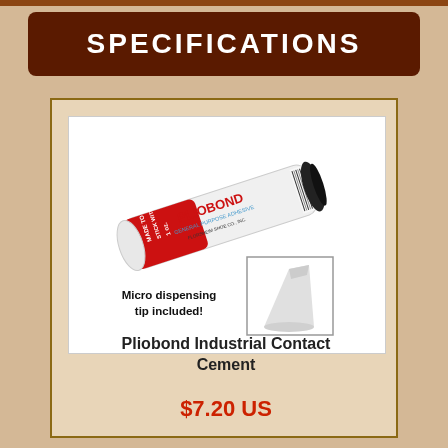SPECIFICATIONS
[Figure (photo): Pliobond Industrial Contact Cement tube (white tube with red label reading PLIOBOND, with black cap) and a micro dispensing tip. Text reads: Micro dispensing tip included!]
Pliobond Industrial Contact Cement
$7.20 US